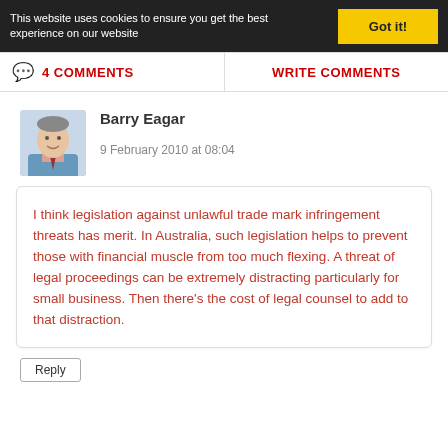This website uses cookies to ensure you get the best experience on our website
Got it!
4 COMMENTS
WRITE COMMENTS
Barry Eagar
9 February 2010 at 08:04
I think legislation against unlawful trade mark infringement threats has merit. In Australia, such legislation helps to prevent those with financial muscle from too much flexing. A threat of legal proceedings can be extremely distracting particularly for small business. Then there's the cost of legal counsel to add to that distraction.
Reply